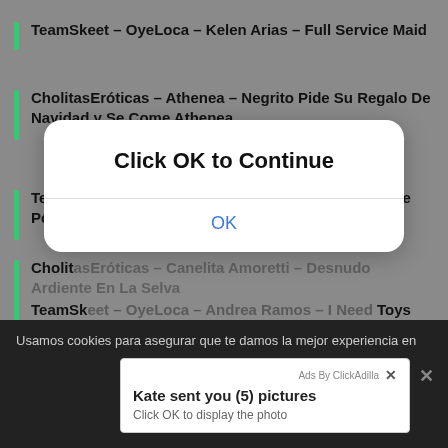TeamSkeet – OyeLoca – Kelen Arias – Full Service Maid
CholitasEróticas – Athenea – Negrito Pide Su Regalo De Navidad y Se Come Athenea
TeamSkeet – OyeLoca – Sandra Flores – Fucking The Police
CholitasEróticas – Canelita Amoretti – Desnudo Ardiente En La Selva
TeamSkeet – OyeLoca – Andrea Ramos – I Need Toys
[Figure (screenshot): Modal dialog overlay with text 'Click OK to Continue' and an OK button]
Usamos cookies para asegurar que te damos la mejor experiencia en
[Figure (screenshot): Ad popup: 'Ads By ClickAdilla' header with close X, title 'Kate sent you (5) pictures', subtitle 'Click OK to display the photo']